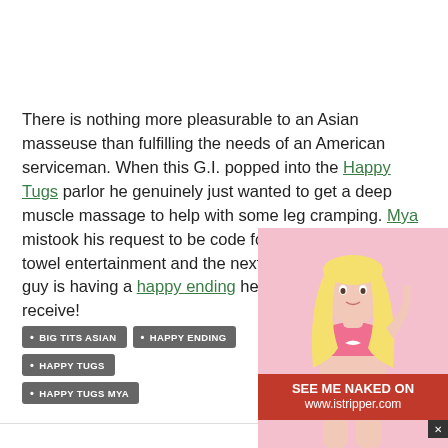There is nothing more pleasurable to an Asian masseuse than fulfilling the needs of an American serviceman. When this G.I. popped into the Happy Tugs parlor he genuinely just wanted to get a deep muscle massage to help with some leg cramping. Mya mistook his request to be code for some under the towel entertainment and the next thing you know this guy is having a happy ending he never expected to receive!
BIG TITS ASIAN
HAPPY ENDING
HAPPY TUGS
HAPPY TUGS MYA
[Figure (photo): Blonde woman in pink lingerie with istripper.com advertisement banner]
SEE ME NAKED ON www.istripper.com